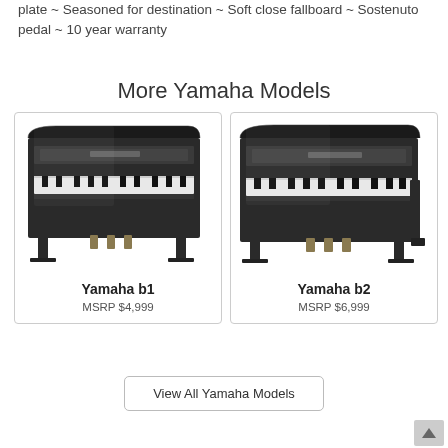plate ~ Seasoned for destination ~ Soft close fallboard ~ Sostenuto pedal ~ 10 year warranty
More Yamaha Models
[Figure (photo): Yamaha b1 upright piano in black polished finish, front view]
Yamaha b1
MSRP $4,999
[Figure (photo): Yamaha b2 upright piano in black polished finish, front view]
Yamaha b2
MSRP $6,999
View All Yamaha Models